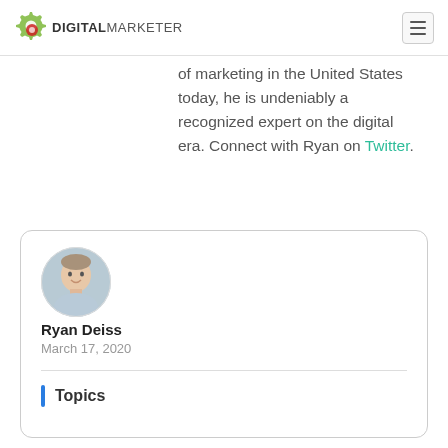DIGITAL MARKETER
of marketing in the United States today, he is undeniably a recognized expert on the digital era. Connect with Ryan on Twitter.
[Figure (photo): Circular profile photo of Ryan Deiss, a man smiling, wearing a light blue shirt, with a blurred outdoor background.]
Ryan Deiss
March 17, 2020
Topics